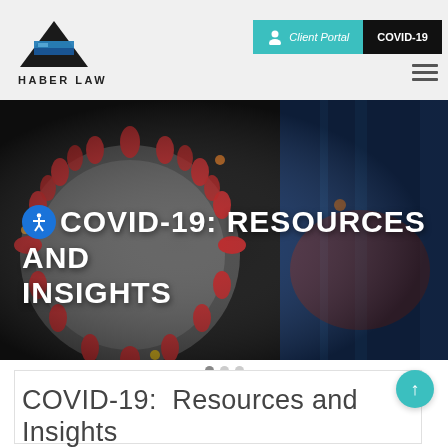[Figure (logo): Haber Law logo: black and blue pyramid/prism shape with text HABER LAW below]
Client Portal   COVID-19
[Figure (photo): Close-up scientific illustration of a coronavirus (COVID-19) particle with red spike proteins on dark background, with blue curtain/room in the right portion]
COVID-19: RESOURCES AND INSIGHTS
COVID-19: Resources and Insights